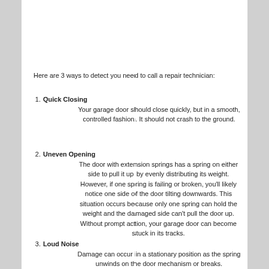Here are 3 ways to detect you need to call a repair technician:
1. Quick Closing — Your garage door should close quickly, but in a smooth, controlled fashion. It should not crash to the ground.
2. Uneven Opening — The door with extension springs has a spring on either side to pull it up by evenly distributing its weight. However, if one spring is failing or broken, you'll likely notice one side of the door tilting downwards. This situation occurs because only one spring can hold the weight and the damaged side can't pull the door up. Without prompt action, your garage door can become stuck in its tracks.
3. Loud Noise — Damage can occur in a stationary position as the spring unwinds on the door mechanism or breaks.